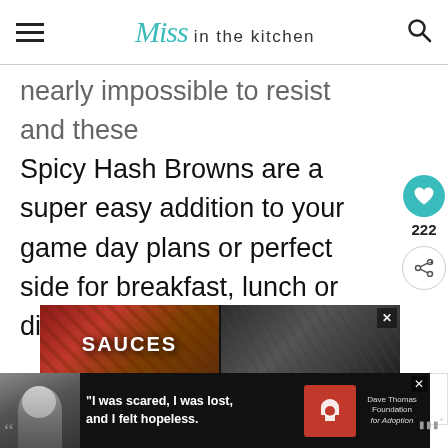Miss in the kitchen
nearly impossible to resist and these Spicy Hash Browns are a super easy addition to your game day plans or perfect side for breakfast, lunch or dinner!
[Figure (photo): Advertisement showing food images with 'SAUCES' label overlaid, grid of four food photos]
[Figure (infographic): WHAT'S NEXT banner with Cheesy Poblano Has... thumbnail]
[Figure (photo): Bottom advertisement banner: 'I was scared, I was lost, and I felt hopeless.' with Dave Thomas Foundation for Adoption logo]